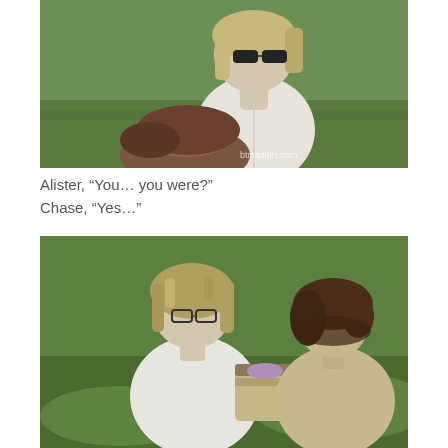[Figure (photo): Two ball-jointed dolls outdoors on grass. One doll with blonde hair and sunglasses looks down at a second doll with brown hair. Watermark reads btmsdolls.com.]
Alister, “You… you were?”
Chase, “Yes…”
[Figure (photo): Two ball-jointed dolls sitting in grass. Left doll has messy blonde hair and glasses, wearing a white jacket. Right doll has dark curly hair. They appear to be looking at a striped bag between them.]